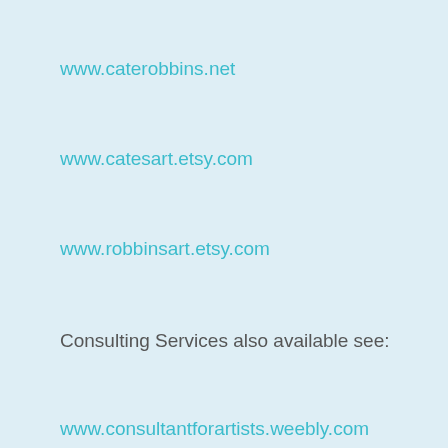www.caterobbins.net
www.catesart.etsy.com
www.robbinsart.etsy.com
Consulting Services also available see:
www.consultantforartists.weebly.com
McKinney Arthouse
502 N. Kentucky